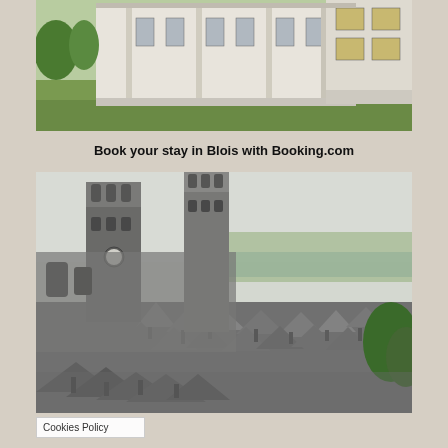[Figure (photo): Exterior of a white classical French chateau building with green lawn and trees in the background — aerial/ground-level view showing architectural details, columns, and tall windows.]
Book your stay in Blois with Booking.com
[Figure (photo): Aerial view of Blois city showing gothic church towers in the foreground, rooftops of old town buildings, the Loire river in the middle ground, and green countryside in the background under a hazy sky.]
Cookies Policy